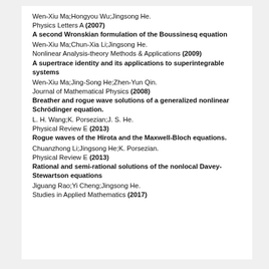Wen-Xiu Ma;Hongyou Wu;Jingsong He.
Physics Letters A (2007)
A second Wronskian formulation of the Boussinesq equation
Wen-Xiu Ma;Chun-Xia Li;Jingsong He.
Nonlinear Analysis-theory Methods & Applications (2009)
A supertrace identity and its applications to superintegrable systems
Wen-Xiu Ma;Jing-Song He;Zhen-Yun Qin.
Journal of Mathematical Physics (2008)
Breather and rogue wave solutions of a generalized nonlinear Schrödinger equation.
L. H. Wang;K. Porsezian;J. S. He.
Physical Review E (2013)
Rogue waves of the Hirota and the Maxwell-Bloch equations.
Chuanzhong Li;Jingsong He;K. Porsezian.
Physical Review E (2013)
Rational and semi-rational solutions of the nonlocal Davey-Stewartson equations
Jiguang Rao;Yi Cheng;Jingsong He.
Studies in Applied Mathematics (2017)